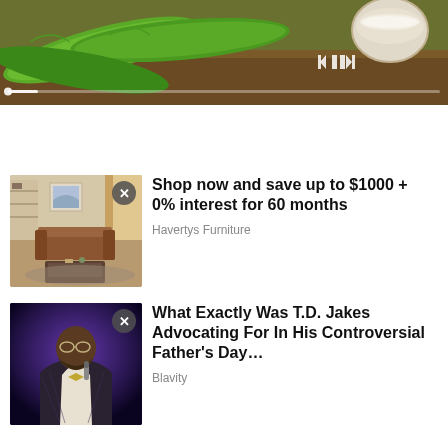[Figure (photo): Aloe vera leaves and a bowl of powder on a wooden surface, with media player controls and progress bar overlay. Banner label reads 'A+ Arthritis Pain Relief'.]
[Figure (photo): Havertys Furniture advertisement showing a modern living room with brown leather sofa, coffee table, and shelving unit. Close button overlay.]
Shop now and save up to $1000 + 0% interest for 60 months
Havertys Furniture
[Figure (photo): T.D. Jakes speaking on stage with purple lighting. Close button overlay.]
What Exactly Was T.D. Jakes Advocating For In His Controversial Father's Day…
Blavity